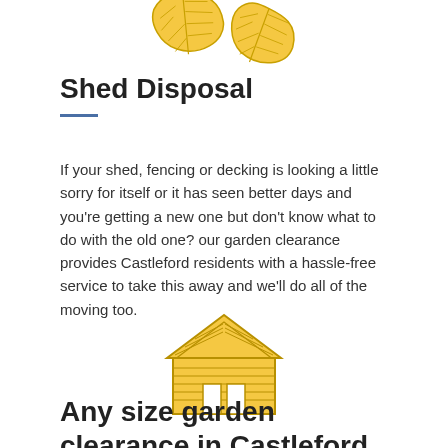[Figure (illustration): Two golden/yellow autumn leaves, decorative illustration at top of page]
Shed Disposal
If your shed, fencing or decking is looking a little sorry for itself or it has seen better days and you're getting a new one but don't know what to do with the old one? our garden clearance provides Castleford residents with a hassle-free service to take this away and we'll do all of the moving too.
[Figure (illustration): Yellow/golden illustrated icon of a wooden shed/cabin house with horizontal planks and a pitched roof]
Any size garden clearance in Castleford